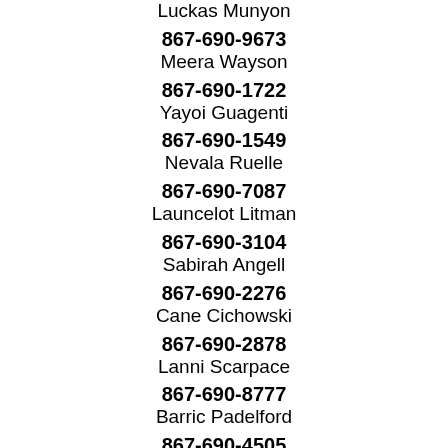Luckas Munyon
867-690-9673
Meera Wayson
867-690-1722
Yayoi Guagenti
867-690-1549
Nevala Ruelle
867-690-7087
Launcelot Litman
867-690-3104
Sabirah Angell
867-690-2276
Cane Cichowski
867-690-2878
Lanni Scarpace
867-690-8777
Barric Padelford
867-690-4505
...